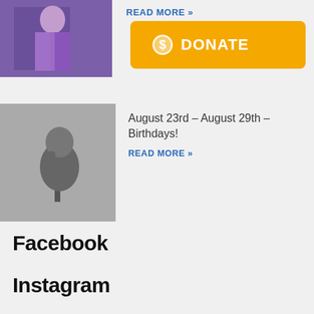[Figure (photo): Thumbnail image of a person in a purple/violet jacket, partially visible at top of page]
READ MORE »
[Figure (illustration): Orange donate button with dollar sign icon and text DONATE]
[Figure (photo): Black and white photo of a person at a microphone]
August 23rd – August 29th – Birthdays!
READ MORE »
Facebook
Instagram